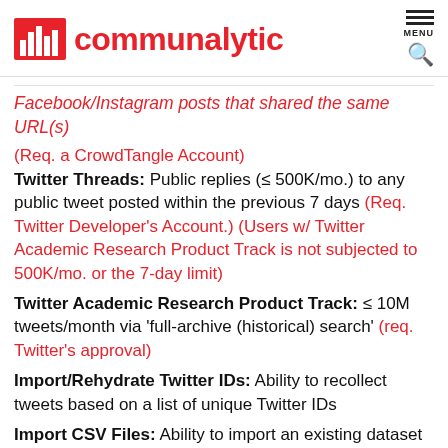[Figure (logo): Communalytic logo with red bar chart icon and red text 'communalytic', plus hamburger menu icon and search icon in top right]
Facebook/Instagram posts that shared the same URL(s) (Req. a CrowdTangle Account)
Twitter Threads: Public replies (≤ 500K/mo.) to any public tweet posted within the previous 7 days (Req. Twitter Developer's Account.) (Users w/ Twitter Academic Research Product Track is not subjected to 500K/mo. or the 7-day limit)
Twitter Academic Research Product Track: ≤ 10M tweets/month via 'full-archive (historical) search' (req. Twitter's approval)
Import/Rehydrate Twitter IDs: Ability to recollect tweets based on a list of unique Twitter IDs
Import CSV Files: Ability to import an existing dataset